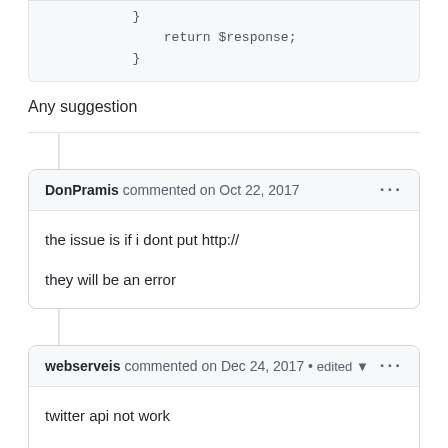}
                return $response;
            }
Any suggestion
DonPramis commented on Oct 22, 2017
the issue is if i dont put http://

they will be an error
webserveis commented on Dec 24, 2017 • edited
twitter api not work

New api: